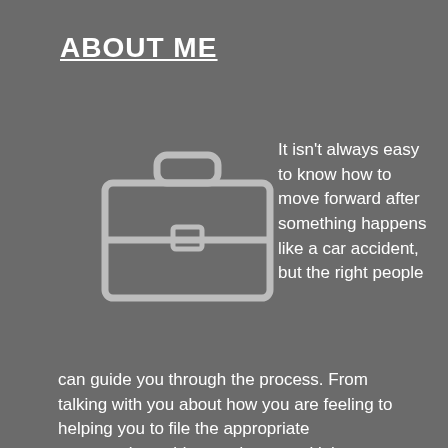ABOUT ME
[Figure (illustration): A briefcase icon drawn with light gray outlines on a dark gray background]
It isn't always easy to know how to move forward after something happens like a car accident, but the right people can guide you through the process. From talking with you about how you are feeling to helping you to file the appropriate paperwork, accident and personal injury attorneys make it easy to improve your life. If you are struggling after a car incident, don't feel like you are alone. Reach out to professionals to make sense of your financial situation and your vehicle repair. By making the right changes today, you